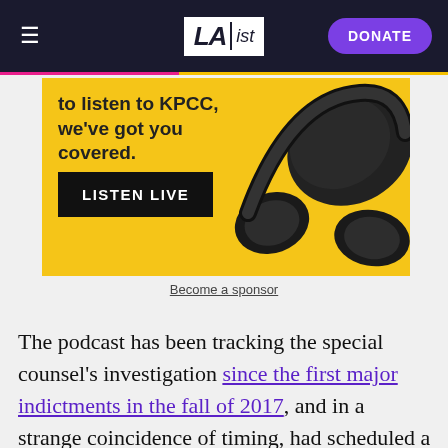LAist — DONATE
[Figure (photo): Yellow background with black over-ear headphones, advertisement for KPCC radio with text 'to listen to KPCC, we've got you covered.' and a black LISTEN LIVE button]
Become a sponsor
The podcast has been tracking the special counsel's investigation since the first major indictments in the fall of 2017, and in a strange coincidence of timing, had scheduled a live recording of its latest episode for Thursday night at Large. Of course